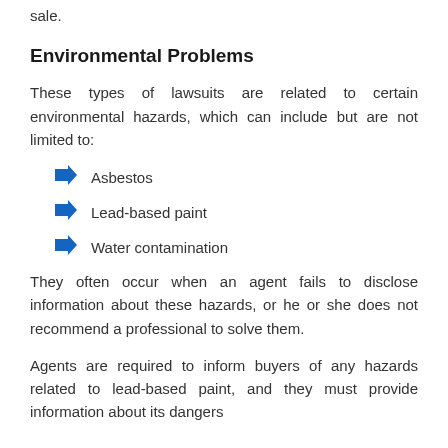sale.
Environmental Problems
These types of lawsuits are related to certain environmental hazards, which can include but are not limited to:
Asbestos
Lead-based paint
Water contamination
They often occur when an agent fails to disclose information about these hazards, or he or she does not recommend a professional to solve them.
Agents are required to inform buyers of any hazards related to lead-based paint, and they must provide information about its dangers